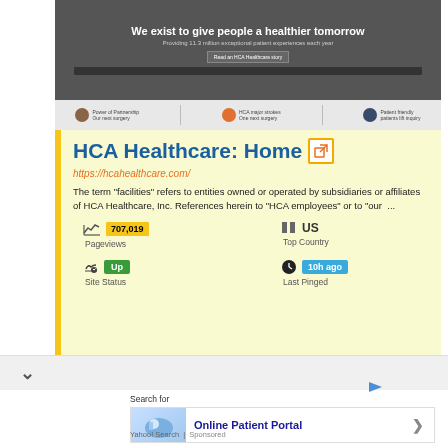[Figure (screenshot): HCA Healthcare website screenshot showing dark hero banner with text 'We exist to give people a healthier tomorrow', a subtitle, a button, a video bar, and thumbnail images below]
HCA Healthcare: Home
https://hcahealthcare.com/
The term "facilities" refers to entities owned or operated by subsidiaries or affiliates of HCA Healthcare, Inc. References herein to "HCA employees" or to "our  ...
707,019 Pageviews
US Top Country
Up Site Status
10h ago Last Pinged
Search for
Online Patient Portal
Yahoo! Search | Sponsored